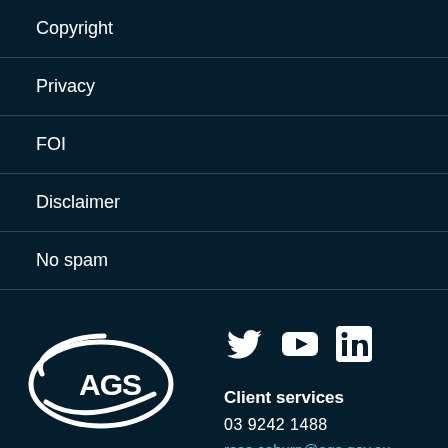Copyright
Privacy
FOI
Disclaimer
No spam
[Figure (logo): AGS (Australian Government Solicitor) logo — white elliptical swoosh with 'AGS' text inside]
[Figure (infographic): Social media icons: Twitter bird, YouTube play button, LinkedIn square]
Client services
03 9242 1488
rose.coburn@ags.gov.au